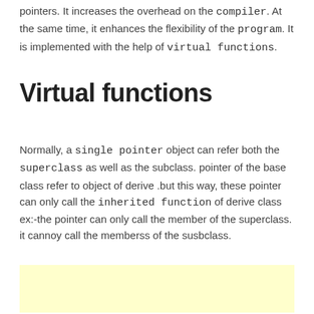pointers. It increases the overhead on the compiler. At the same time, it enhances the flexibility of the program. It is implemented with the help of virtual functions.
Virtual functions
Normally, a single pointer object can refer both the superclass as well as the subclass. pointer of the base class refer to object of derive .but this way, these pointer can only call the inherited function of derive class ex:-the pointer can only call the member of the superclass. it cannoy call the memberss of the susbclass.
[Figure (other): Yellow/cream colored advertisement block]